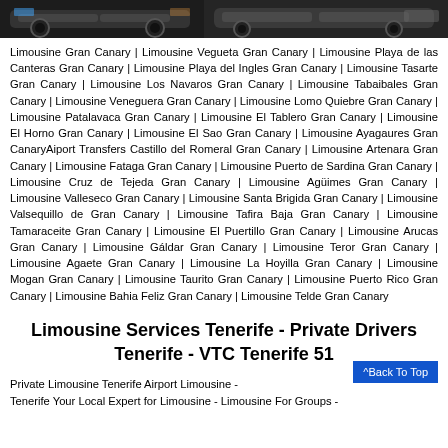[Figure (photo): Two limousine/car images at the top of the page against dark background]
Limousine Gran Canary | Limousine Vegueta Gran Canary | Limousine Playa de las Canteras Gran Canary | Limousine Playa del Ingles Gran Canary | Limousine Tasarte Gran Canary | Limousine Los Navaros Gran Canary | Limousine Tabaibales Gran Canary | Limousine Veneguera Gran Canary | Limousine Lomo Quiebre Gran Canary | Limousine Patalavaca Gran Canary | Limousine El Tablero Gran Canary | Limousine El Horno Gran Canary | Limousine El Sao Gran Canary | Limousine Ayagaures Gran CanaryAiport Transfers Castillo del Romeral Gran Canary | Limousine Artenara Gran Canary | Limousine Fataga Gran Canary | Limousine Puerto de Sardina Gran Canary | Limousine Cruz de Tejeda Gran Canary | Limousine Agüimes Gran Canary | Limousine Valleseco Gran Canary | Limousine Santa Brigida Gran Canary | Limousine Valsequillo de Gran Canary | Limousine Tafira Baja Gran Canary | Limousine Tamaraceite Gran Canary | Limousine El Puertillo Gran Canary | Limousine Arucas Gran Canary | Limousine Gáldar Gran Canary | Limousine Teror Gran Canary | Limousine Agaete Gran Canary | Limousine La Hoyilla Gran Canary | Limousine Mogan Gran Canary | Limousine Taurito Gran Canary | Limousine Puerto Rico Gran Canary | Limousine Bahia Feliz Gran Canary | Limousine Telde Gran Canary
Limousine Services Tenerife - Private Drivers Tenerife - VTC Tenerife 51
Private Limousine Tenerife Airport Limousine - Tenerife Your Local Expert for Limousine - Limousine For Groups -